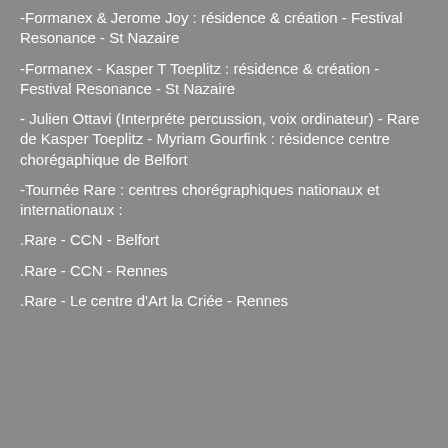-Formanex & Jerome Joy : résidence & création - Festival Resonance - St Nazaire
-Formanex - Kasper T Toeplitz : résidence & création - Festival Resonance - St Nazaire
- Julien Ottavi (Interpréte percussion, voix ordinateur) - Rare de Kasper Toeplitz - Myriam Gourfink : résidence centre chorégaphique de Belfort
-Tournée Rare : centres chorégraphiques nationaux et internationaux :
.Rare - CCN - Belfort
.Rare - CCN - Rennes
.Rare - Le centre d'Art la Criée - Rennes